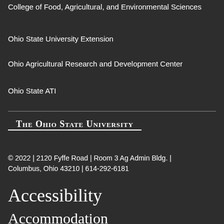College of Food, Agricultural, and Environmental Sciences
Ohio State University Extension
Ohio Agricultural Research and Development Center
Ohio State ATI
The Ohio State University
© 2022 | 2120 Fyffe Road | Room 3 Ag Admin Bldg. | Columbus, Ohio 43210 | 614-292-6181
Accessibility
Accommodation